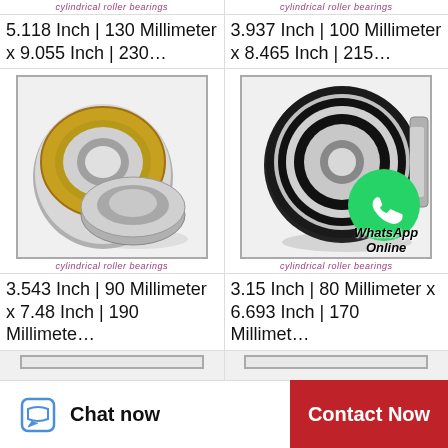cylindrical roller bearings
5.118 Inch | 130 Millimeter x 9.055 Inch | 230…
cylindrical roller bearings
3.937 Inch | 100 Millimeter x 8.465 Inch | 215…
[Figure (photo): Cylindrical roller bearing showing gold/brass cage with steel inner and outer rings]
cylindrical roller bearings
3.543 Inch | 90 Millimeter x 7.48 Inch | 190 Millimete…
[Figure (photo): Cylindrical roller bearing with black rubber seals, with WhatsApp Online overlay]
cylindrical roller bearings
3.15 Inch | 80 Millimeter x 6.693 Inch | 170 Millimet…
Chat now
Contact Now